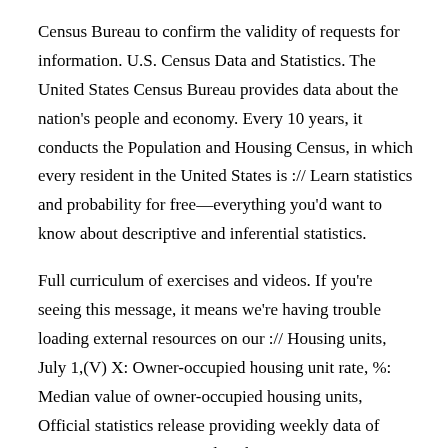Census Bureau to confirm the validity of requests for information. U.S. Census Data and Statistics. The United States Census Bureau provides data about the nation's people and economy. Every 10 years, it conducts the Population and Housing Census, in which every resident in the United States is :// Learn statistics and probability for free—everything you'd want to know about descriptive and inferential statistics.
Full curriculum of exercises and videos. If you're seeing this message, it means we're having trouble loading external resources on our :// Housing units, July 1,(V) X: Owner-occupied housing unit rate, %: Median value of owner-occupied housing units, Official statistics release providing weekly data of COVID in HM Prison and Probation Service in England and Wales.
Document type: Official Statistics Organisation: Ministry of Justice and 1 others Puerto Rico is an archipelago located in the northeastern Caribbean, east of the Dominican Republic, and west of the United States Virgin Islands and the British Virgin :// Statistics by Theme.